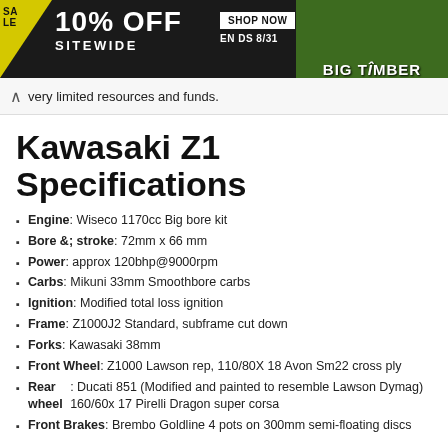[Figure (other): Advertisement banner: black background with yellow sale tag, '10% OFF SITEWIDE', 'SHOP NOW' button, 'ENDS 8/31', and 'BIG TIMBER' green image on right]
very limited resources and funds.
Kawasaki Z1 Specifications
Engine: Wiseco 1170cc Big bore kit
Bore &; stroke: 72mm x 66 mm
Power: approx 120bhp@9000rpm
Carbs: Mikuni 33mm Smoothbore carbs
Ignition: Modified total loss ignition
Frame: Z1000J2 Standard, subframe cut down
Forks: Kawasaki 38mm
Front Wheel: Z1000 Lawson rep, 110/80X 18 Avon Sm22 cross ply
Rear wheel: Ducati 851 (Modified and painted to resemble Lawson Dymag) 160/60x 17 Pirelli Dragon super corsa
Front Brakes: Brembo Goldline 4 pots on 300mm semi-floating discs